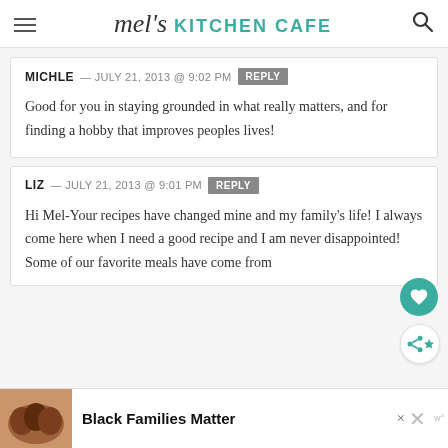mel's KITCHEN CAFE
MICHLE — JULY 21, 2013 @ 9:02 PM  REPLY
Good for you in staying grounded in what really matters, and for finding a hobby that improves peoples lives!
LIZ — JULY 21, 2013 @ 9:01 PM  REPLY
Hi Mel-Your recipes have changed mine and my family's life! I always come here when I need a good recipe and I am never disappointed! Some of our favorite meals have come from
[Figure (other): Advertisement banner: Black Families Matter with photo of family]